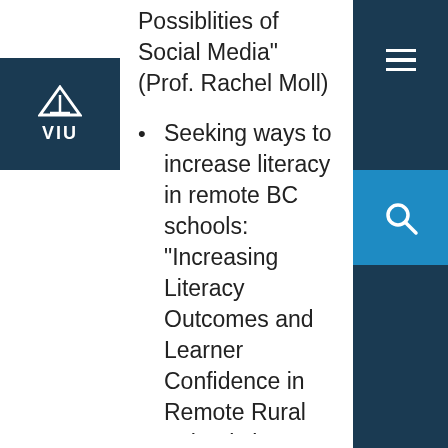[Figure (logo): VIU (Vancouver Island University) logo: dark navy blue square with a white arrow/compass icon above the text 'VIU']
[Figure (other): Hamburger menu icon (three horizontal white lines) on dark navy background, top right corner]
[Figure (other): Search icon (magnifying glass) on blue background, right side]
Possiblities of Social Media" (Prof. Rachel Moll)
Seeking ways to increase literacy in remote BC schools: "Increasing Literacy Outcomes and Learner Confidence in Remote Rural Schools in British Columbia" (Prof. Paige Fisher)
Leveraging VIU technology "downtime" to provide K-12 access: providing professional development and iPad access for local area elementary students & teacher when resources are not in use for VIU classes. (Prof. Julia Hengstler)